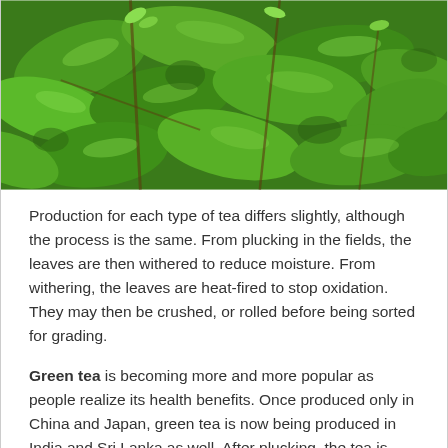[Figure (photo): Close-up photograph of bright green tea leaves on branches, densely packed, showing glossy leaf surfaces with serrated edges.]
Production for each type of tea differs slightly, although the process is the same.  From plucking in the fields, the leaves are then withered to reduce moisture.  From withering, the leaves are heat-fired to stop oxidation.  They may then be crushed, or rolled before being sorted for grading.
Green tea is becoming more and more popular as people realize its health benefits.   Once produced only in China and Japan, green tea is now being produced in India and Sri Lanka as well.  After plucking, the tea is withered slightly to